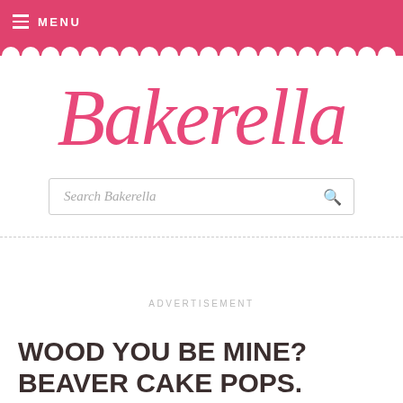≡ MENU
[Figure (logo): Bakerella script logo in pink]
Search Bakerella
ADVERTISEMENT
WOOD YOU BE MINE? BEAVER CAKE POPS.